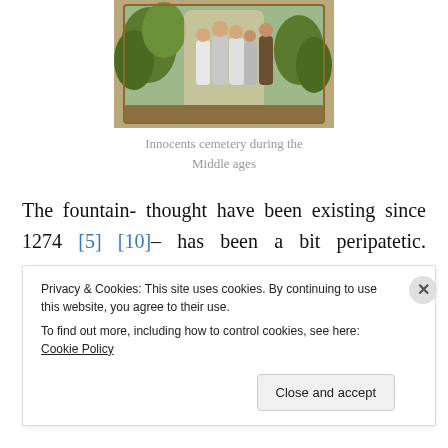[Figure (illustration): Medieval illumination showing figures in robes, possibly monks or clergy, at the Innocents cemetery during the Middle Ages]
Innocents cemetery during the Middle ages
The fountain- thought have been existing since 1274 [5][10]– has been a bit peripatetic. Originally this site was a cemetery, the St Innocents cemetery, and the fountain was sitting at the NE corner of it. A cenotaph was sitting in the middle of the cemetery.
Privacy & Cookies: This site uses cookies. By continuing to use this website, you agree to their use.
To find out more, including how to control cookies, see here: Cookie Policy